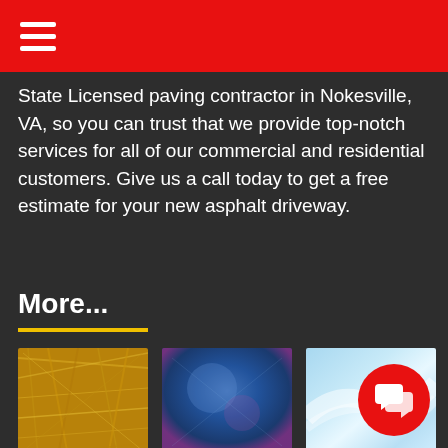≡ (hamburger menu)
State Licensed paving contractor in Nokesville, VA, so you can trust that we provide top-notch services for all of our commercial and residential customers. Give us a call today to get a free estimate for your new asphalt driveway.
More...
[Figure (photo): Close-up photo of golden straw or hay material]
[Figure (photo): Abstract blue textured background with purple tones]
[Figure (photo): Abstract light blue smooth wave background]
How Long Should an Asphalt Driveway Last?
How to Prepare Yourself for Commercial Parking Expansion
Maintaining Your New Asphalt Driveway: Tips from a Paving Contractor